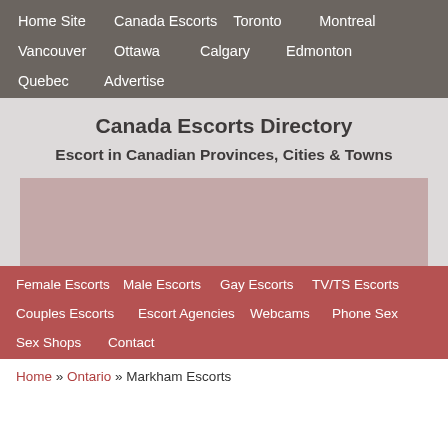Home Site  Canada Escorts  Toronto  Montreal  Vancouver  Ottawa  Calgary  Edmonton  Quebec  Advertise
Canada Escorts Directory
Escort in Canadian Provinces, Cities & Towns
Female Escorts  Male Escorts  Gay Escorts  TV/TS Escorts  Couples Escorts  Escort Agencies  Webcams  Phone Sex  Sex Shops  Contact
Home » Ontario » Markham Escorts